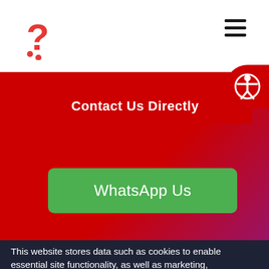[Figure (logo): Red question mark logo icon in top left of navigation bar]
[Figure (other): Hamburger menu icon (three horizontal lines) in top right of navigation bar]
[Figure (other): Accessibility icon (person with outstretched arms in circle) on red rounded button, top right]
Contact Us Directly
WhatsApp Us
This website stores data such as cookies to enable essential site functionality, as well as marketing, personalization, and analytics. Cookie Policy
Accept
Deny